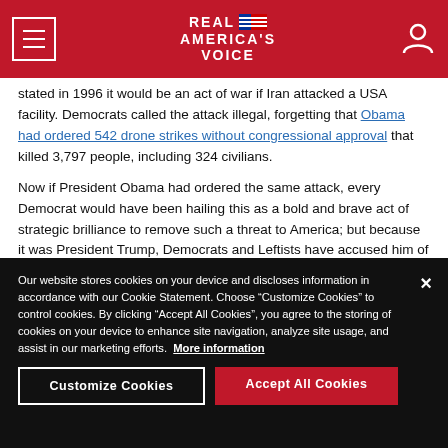REAL AMERICA'S VOICE
stated in 1996 it would be an act of war if Iran attacked a USA facility. Democrats called the attack illegal, forgetting that Obama had ordered 542 drone strikes without congressional approval that killed 3,797 people, including 324 civilians.
Now if President Obama had ordered the same attack, every Democrat would have been hailing this as a bold and brave act of strategic brilliance to remove such a threat to America; but because it was President Trump, Democrats and Leftists have accused him of an assassination while our own military has been called “terrorists”.
Our website stores cookies on your device and discloses information in accordance with our Cookie Statement. Choose “Customize Cookies” to control cookies. By clicking “Accept All Cookies”, you agree to the storing of cookies on your device to enhance site navigation, analyze site usage, and assist in our marketing efforts.  More information
Customize Cookies
Accept All Cookies